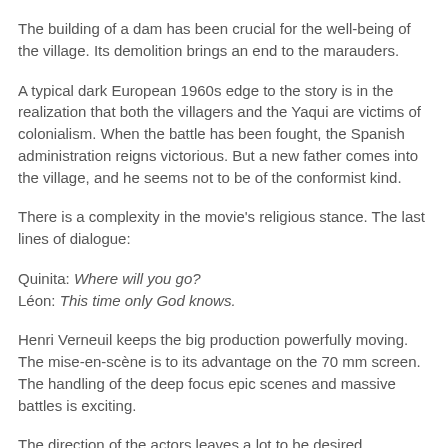The building of a dam has been crucial for the well-being of the village. Its demolition brings an end to the marauders.
A typical dark European 1960s edge to the story is in the realization that both the villagers and the Yaqui are victims of colonialism. When the battle has been fought, the Spanish administration reigns victorious. But a new father comes into the village, and he seems not to be of the conformist kind.
There is a complexity in the movie's religious stance. The last lines of dialogue:
Quinita: Where will you go?
Léon: This time only God knows.
Henri Verneuil keeps the big production powerfully moving. The mise-en-scène is to its advantage on the 70 mm screen. The handling of the deep focus epic scenes and massive battles is exciting.
The direction of the actors leaves a lot to be desired.